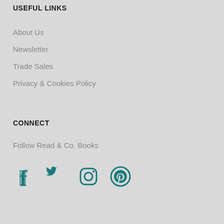USEFUL LINKS
About Us
Newsletter
Trade Sales
Privacy & Cookies Policy
CONNECT
Follow Read & Co. Books
[Figure (infographic): Social media icons: Facebook, Twitter, Instagram, Pinterest in teal color]